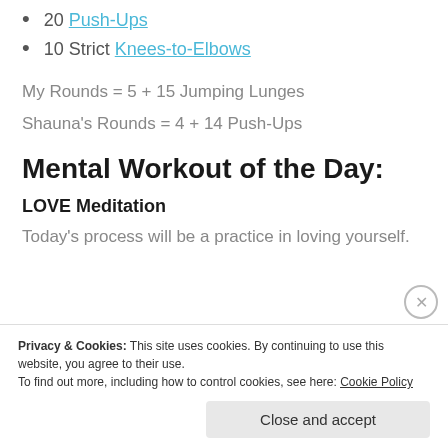20 Push-Ups
10 Strict Knees-to-Elbows
My Rounds = 5 + 15 Jumping Lunges
Shauna's Rounds = 4 + 14 Push-Ups
Mental Workout of the Day:
LOVE Meditation
Today's process will be a practice in loving yourself.
Privacy & Cookies: This site uses cookies. By continuing to use this website, you agree to their use. To find out more, including how to control cookies, see here: Cookie Policy
Close and accept